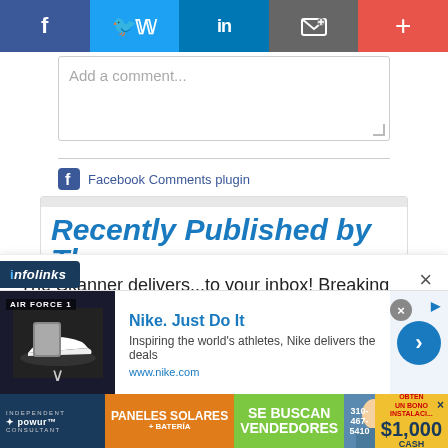[Figure (infographic): Social media sharing bar with Facebook, Twitter, LinkedIn, Email, and More buttons]
Add a comment...
Facebook Comments plugin
Recently Published by The
The Skanner delivers...to your inbox! Breaking news, local stories & events sent twice a week
[Figure (infographic): Subscribe button in blue]
[Figure (logo): infolinks badge]
[Figure (infographic): Nike advertisement: Nike. Just Do It. Inspiring the world's athletes, Nike delivers the deals. www.nike.com]
[Figure (infographic): Solar panels advertisement in Spanish: PANELES SOLARES + BATERIA, SE BUSCAN VENDEDORES, 310-467-5410, $1,000 CASH]